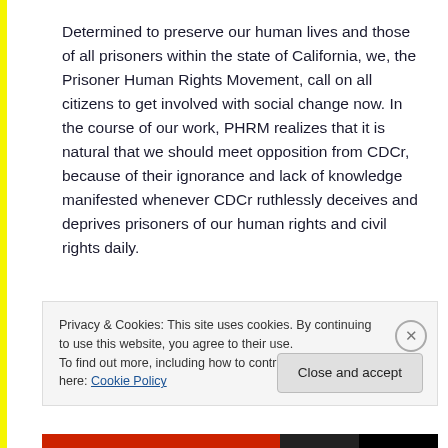Determined to preserve our human lives and those of all prisoners within the state of California, we, the Prisoner Human Rights Movement, call on all citizens to get involved with social change now. In the course of our work, PHRM realizes that it is natural that we should meet opposition from CDCr, because of their ignorance and lack of knowledge manifested whenever CDCr ruthlessly deceives and deprives prisoners of our human rights and civil rights daily.
Privacy & Cookies: This site uses cookies. By continuing to use this website, you agree to their use.
To find out more, including how to control cookies, see here: Cookie Policy